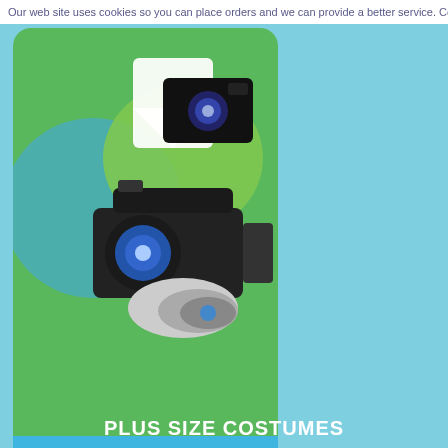Our web site uses cookies so you can place orders and we can provide a better service. Co
[Figure (screenshot): Product app icon or promotional image showing a professional video camera and a regular camera on a green/teal background with a white arrow/download symbol. Below is a blue banner with the text 'More Info' and a hand/pointer icon.]
PLUS SIZE COSTUMES